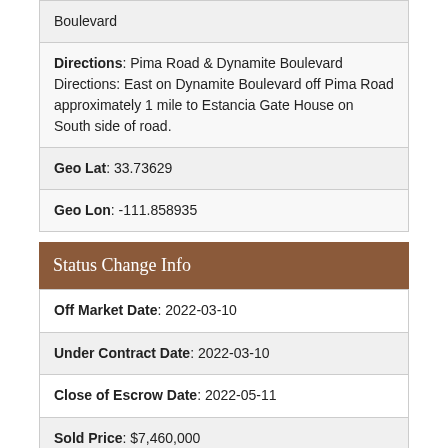| Boulevard |
| Directions: Pima Road & Dynamite Boulevard Directions: East on Dynamite Boulevard off Pima Road approximately 1 mile to Estancia Gate House on South side of road. |
| Geo Lat: 33.73629 |
| Geo Lon: -111.858935 |
Status Change Info
| Off Market Date: 2022-03-10 |
| Under Contract Date: 2022-03-10 |
| Close of Escrow Date: 2022-05-11 |
| Sold Price: $7,460,000 |
Legal Info